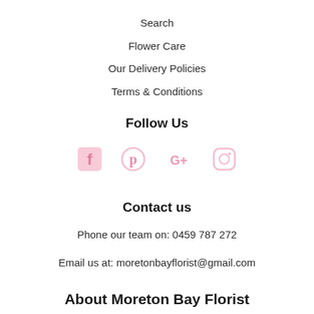Search
Flower Care
Our Delivery Policies
Terms & Conditions
Follow Us
[Figure (infographic): Social media icons: Facebook, Pinterest, Google+, Instagram in pink color]
Contact us
Phone our team on: 0459 787 272
Email us at: moretonbayflorist@gmail.com
About Moreton Bay Florist